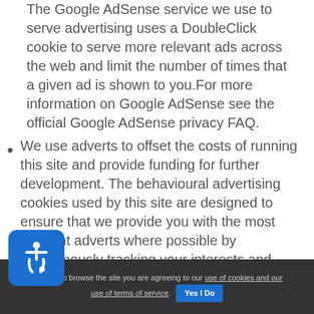The Google AdSense service we use to serve advertising uses a DoubleClick cookie to serve more relevant ads across the web and limit the number of times that a given ad is shown to you.For more information on Google AdSense see the official Google AdSense privacy FAQ.
We use adverts to offset the costs of running this site and provide funding for further development. The behavioural advertising cookies used by this site are designed to ensure that we provide you with the most relevant adverts where possible by anonymously tracking your interests and presenting similar things that may be of interest to you.
By continuing to browse the site you are agreeing to our use of cookies and our use of terms of service.